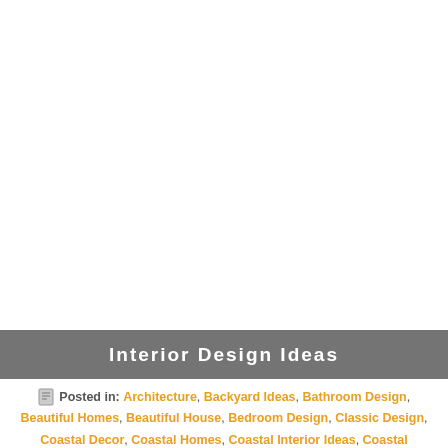[Figure (other): Large white/blank image area at the top of the page]
Interior Design Ideas
Posted in: Architecture, Backyard Ideas, Bathroom Design, Beautiful Homes, Beautiful House, Bedroom Design, Classic Design, Coastal Decor, Coastal Homes, Coastal Interior Ideas, Coastal Interiors, Colorful Interiors, Cottage, Dining Room Design, Eco Design, Eco Friendly Interiors, Farmhouse Interiors, Furniture, Gardens, Guest